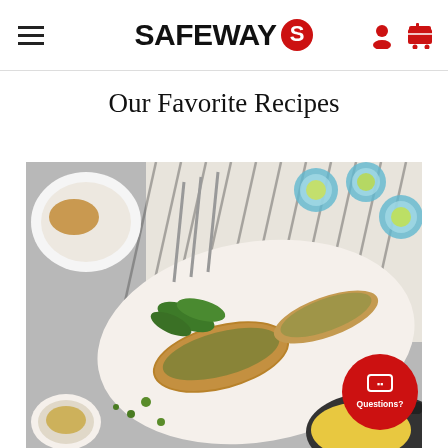SAFEWAY
Our Favorite Recipes
[Figure (photo): Overhead shot of grilled or pan-seared fish fillets on a white cutting board, surrounded by fresh herbs, ornate serving forks, blue glasses with lime slices, a striped linen cloth, and a cast iron skillet with yellow food, on a gray surface.]
Questions?